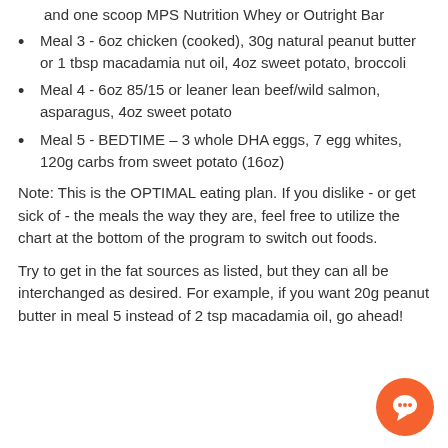and one scoop MPS Nutrition Whey or Outright Bar
Meal 3 - 6oz chicken (cooked), 30g natural peanut butter or 1 tbsp macadamia nut oil, 4oz sweet potato, broccoli
Meal 4 - 6oz 85/15 or leaner lean beef/wild salmon, asparagus, 4oz sweet potato
Meal 5 - BEDTIME – 3 whole DHA eggs, 7 egg whites, 120g carbs from sweet potato (16oz)
Note: This is the OPTIMAL eating plan. If you dislike - or get sick of - the meals the way they are, feel free to utilize the chart at the bottom of the program to switch out foods.
Try to get in the fat sources as listed, but they can all be interchanged as desired. For example, if you want 20g peanut butter in meal 5 instead of 2 tsp macadamia oil, go ahead!